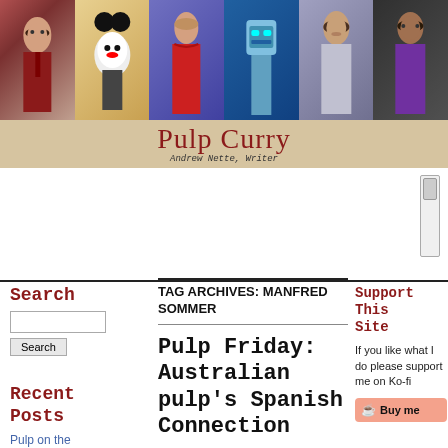[Figure (illustration): Pulp Curry website header banner with collage of pulp art movie poster style paintings and the blog title 'Pulp Curry' with subtitle 'Andrew Nette, Writer']
Search
Recent Posts
Pulp on the big screen
TAG ARCHIVES: MANFRED SOMMER
Pulp Friday: Australian pulp's Spanish Connection
Support This Site
If you like what I do please support me on Ko-fi